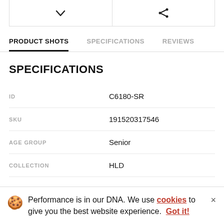[Figure (screenshot): Top icon bar with two cells: left cell has a downward chevron icon, right cell has a share/network icon]
PRODUCT SHOTS	SPECIFICATIONS	REVIEWS
SPECIFICATIONS
| Label | Value |
| --- | --- |
| ID | C6180-SR |
| SKU | 191520317546 |
| AGE GROUP | Senior |
| COLLECTION | HLD |
Performance is in our DNA. We use cookies to give you the best website experience. Got it!